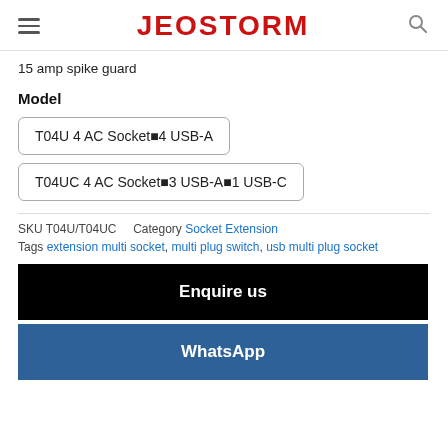JEOSTORM
15 amp spike guard
Model
T04U 4 AC Socket⊠4 USB-A
T04UC 4 AC Socket⊠3 USB-A⊠1 USB-C
SKU T04U/T04UC   Category Socket Extension
Tags extension multi socket, multi plug switch, usb multi plug socket
Enquire us
WhatsApp